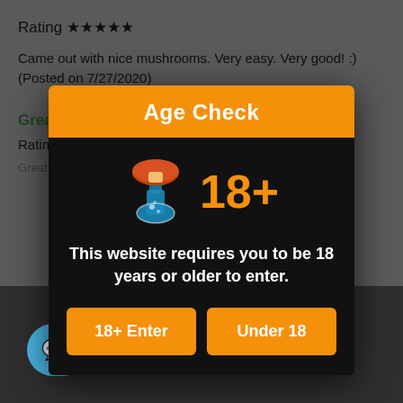Rating ★★★★★
Came out with nice mushrooms. Very easy. Very good! :) (Posted on 7/27/2020)
Great pr
Rating ★
Great product and hl/2020)
Age Check
[Figure (illustration): Mushroom flask icon with orange mushroom cap and blue chemistry flask body with bubbles, next to orange '18+' text]
This website requires you to be 18 years or older to enter.
18+ Enter
Under 18
read the Cookie Policy
Allow
Disallow